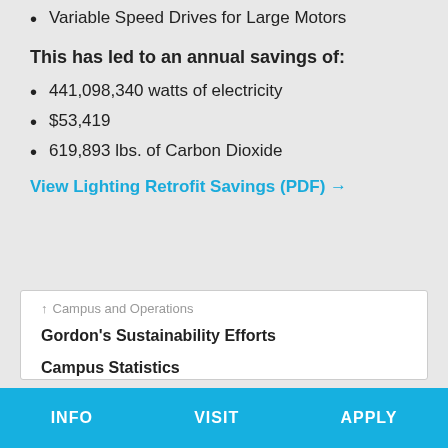Variable Speed Drives for Large Motors
This has led to an annual savings of:
441,098,340 watts of electricity
$53,419
619,893 lbs. of Carbon Dioxide
View Lighting Retrofit Savings (PDF) →
↑ Campus and Operations
Gordon's Sustainability Efforts
Campus Statistics
Buildings
Building Operations and Maintenance
INFO   VISIT   APPLY